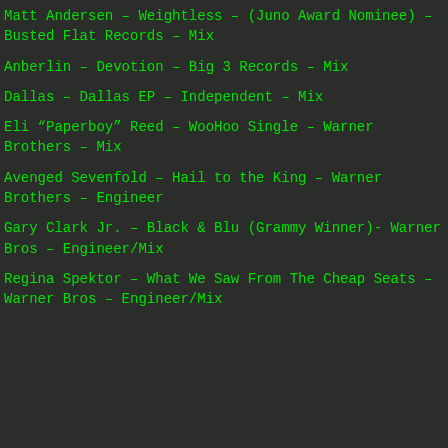Matt Andersen – Weightless – (Juno Award Nominee) – Busted Flat Records – Mix
Anberlin – Devotion – Big 3 Records – Mix
Dallas – Dallas EP – Independent – Mix
Eli “Paperboy” Reed – WooHoo Single – Warner Brothers – Mix
Avenged Sevenfold – Hail to the King – Warner Brothers – Engineer
Gary Clark Jr. – Black & Blu (Grammy Winner)- Warner Bros – Engineer/Mix
Regina Spektor – What We Saw From The Cheap Seats – Warner Bros – Engineer/Mix